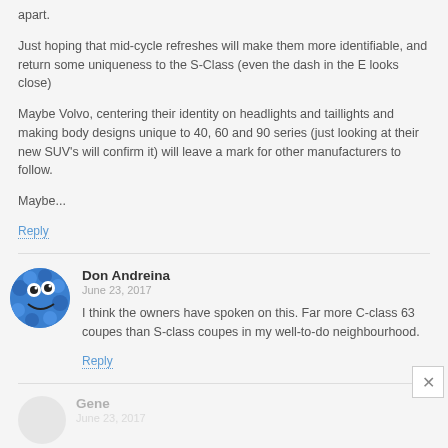apart.
Just hoping that mid-cycle refreshes will make them more identifiable, and return some uniqueness to the S-Class (even the dash in the E looks close)
Maybe Volvo, centering their identity on headlights and taillights and making body designs unique to 40, 60 and 90 series (just looking at their new SUV's will confirm it) will leave a mark for other manufacturers to follow.
Maybe...
Reply
Don Andreina
June 23, 2017
I think the owners have spoken on this. Far more C-class 63 coupes than S-class coupes in my well-to-do neighbourhood.
Reply
Gene
June 23, 2017
Charger 2.2 is nothing compared with this variation. And there's also the Shelby